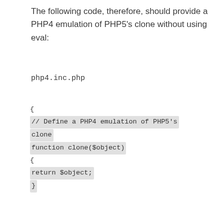The following code, therefore, should provide a PHP4 emulation of PHP5's clone without using eval:
php4.inc.php
{
// Define a PHP4 emulation of PHP5's clone
function clone($object)
{
return $object;
}